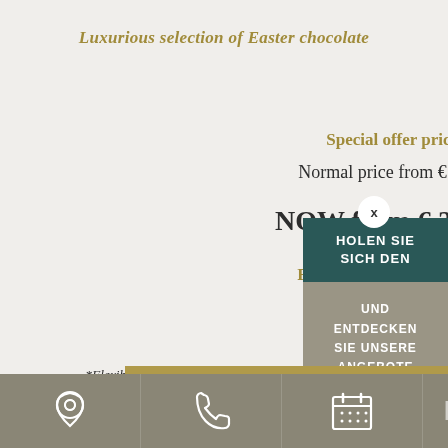Luxurious selection of Easter chocolate
Special offer price:
Normal price from € 400,–
NOW from € 210,–*
Receive up to 47% discount
HOLEN SIE SICH DEN
UND ENTDECKEN SIE UNSERE ANGEBOTE
*Flexible rate for two persons, free cancellation up to 48 hours before arrival